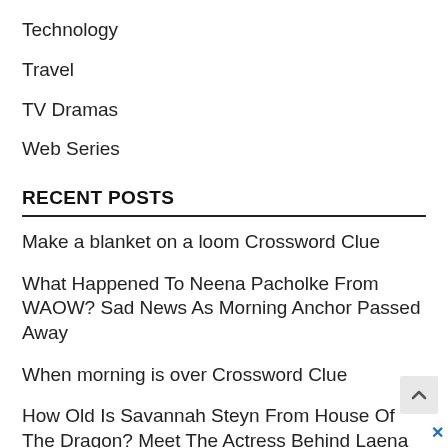Technology
Travel
TV Dramas
Web Series
RECENT POSTS
Make a blanket on a loom Crossword Clue
What Happened To Neena Pacholke From WAOW? Sad News As Morning Anchor Passed Away
When morning is over Crossword Clue
How Old Is Savannah Steyn From House Of The Dragon? Meet The Actress Behind Laena Velaryon Character
River-mouth formation Crossword Clue